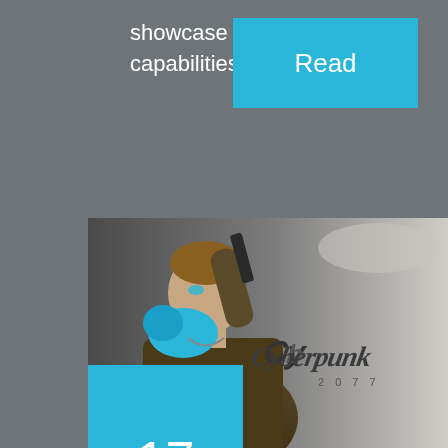showcase the Series X's capabilities. During the...
[Figure (other): Blue 'Read' button on grey background]
[Figure (photo): Cyberpunk 2077 promotional image showing a male character with blue cybernetic headgear holding a weapon, with the Cyberpunk 2077 logo on the right side]
17
Apr
[Figure (other): Blue button with upward arrow (scroll to top)]